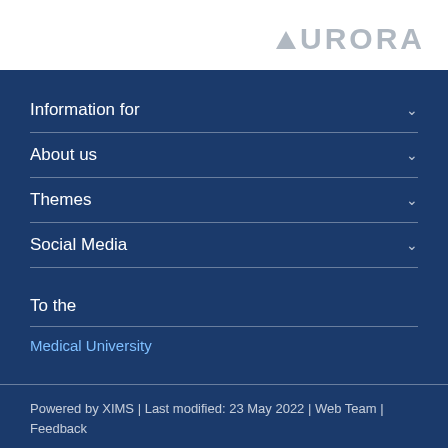AURORA
Information for
About us
Themes
Social Media
To the
Medical University
Powered by XIMS | Last modified: 23 May 2022 | Web Team | Feedback